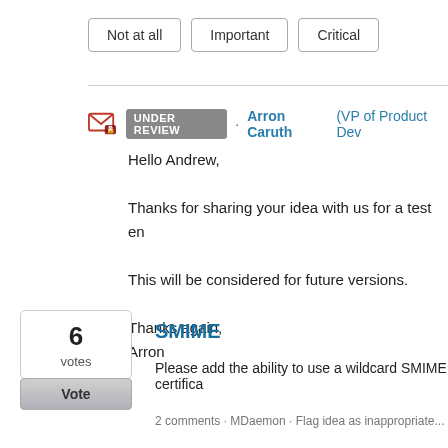Not at all | Important | Critical
UNDER REVIEW · Arron Caruth (VP of Product Dev...)
Hello Andrew,

Thanks for sharing your idea with us for a test en...

This will be considered for future versions.

Thanks again,
Arron
6 votes
Vote
SMIME
Please add the ability to use a wildcard SMIME certifica...
2 comments · MDaemon · Flag idea as inappropriate...